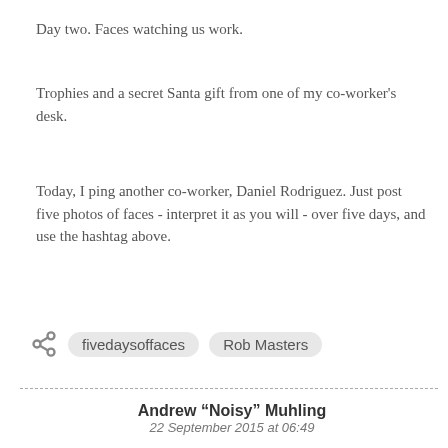Day two. Faces watching us work.
Trophies and a secret Santa gift from one of my co-worker's desk.
Today, I ping another co-worker, Daniel Rodriguez. Just post five photos of faces - interpret it as you will - over five days, and use the hashtag above.
fivedaysoffaces   Rob Masters
Andrew “Noisy” Muhling
22 September 2015 at 06:49
Rob that's cheating.
Are you going to post the dial on your watch next?  Or maybe a cliff?
...laughs...